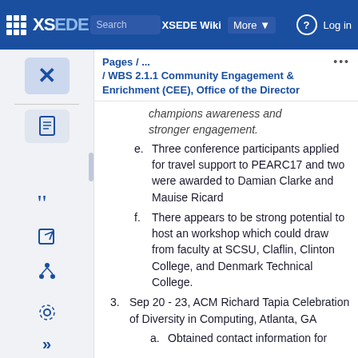XSEDE Wiki — Search XSEDE Wiki | More | Log in
Pages / ... / WBS 2.1.1 Community Engagement & Enrichment (CEE), Office of the Director
champions awareness and stronger engagement.
e. Three conference participants applied for travel support to PEARC17 and two were awarded to Damian Clarke and Mauise Ricard
f. There appears to be strong potential to host an workshop which could draw from faculty at SCSU, Claflin, Clinton College, and Denmark Technical College.
3. Sep 20 - 23, ACM Richard Tapia Celebration of Diversity in Computing, Atlanta, GA
a. Obtained contact information for